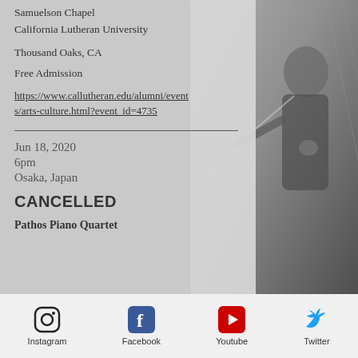Samuelson Chapel
California Lutheran University
Thousand Oaks, CA
Free Admission
https://www.callutheran.edu/alumni/events/arts-culture.html?event_id=4735
Jun 18, 2020
6pm
Osaka, Japan
CANCELLED
Pathos Piano Quartet
[Figure (infographic): Social media footer bar with Instagram, Facebook, Youtube, and Twitter icons and labels]
[Figure (photo): Black and white photo of a conductor in the background on the right side]